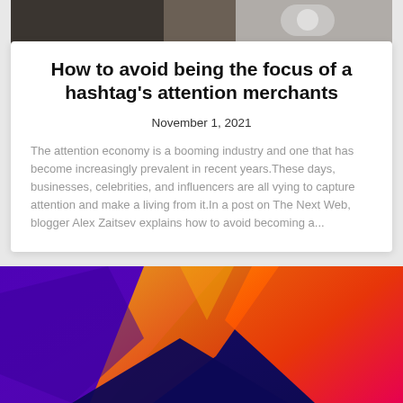[Figure (photo): Partial view of a desk/office scene in dark tones at the top of the page]
How to avoid being the focus of a hashtag's attention merchants
November 1, 2021
The attention economy is a booming industry and one that has become increasingly prevalent in recent years. These days, businesses, celebrities, and influencers are all vying to capture attention and make a living from it. In a post on The Next Web, blogger Alex Zaitsev explains how to avoid becoming a...
[Figure (illustration): Abstract colorful geometric illustration with purple, red, orange gradient shapes on dark blue background]